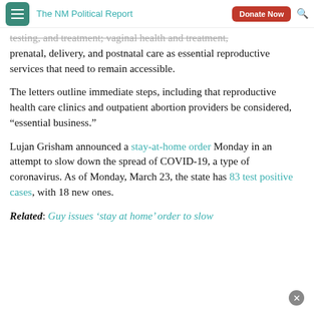The NM Political Report
testing, and treatment; vaginal health and treatment; prenatal, delivery, and postnatal care as essential reproductive services that need to remain accessible.
The letters outline immediate steps, including that reproductive health care clinics and outpatient abortion providers be considered, “essential business.”
Lujan Grisham announced a stay-at-home order Monday in an attempt to slow down the spread of COVID-19, a type of coronavirus. As of Monday, March 23, the state has 83 test positive cases, with 18 new ones.
Related: Guy issues ‘stay at home’ order to slow